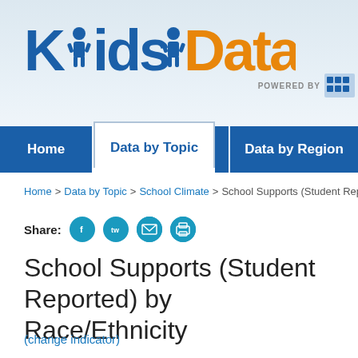[Figure (logo): KidsData logo with blue 'Kids' and orange 'Data' text, and 'POWERED BY' text with logo mark to the right]
Home | Data by Topic | Data by Region
Home > Data by Topic > School Climate > School Supports (Student Repor...
Share:
School Supports (Student Reported) by Race/Ethnicity
(change indicator)